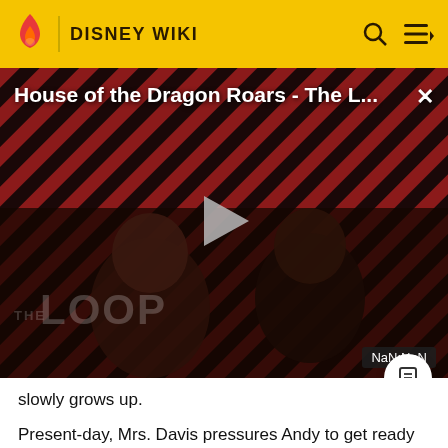DISNEY WIKI
[Figure (screenshot): Video player thumbnail for 'House of the Dragon Roars - The L...' showing two dark figures with THE LOOP text, diagonal striped red/dark background, a play button in the center, and a NaN:NaN time badge in the bottom right corner.]
slowly grows up.
Present-day, Mrs. Davis pressures Andy to get ready for college by packing up or throwing away his belongings. When she finds his old toys, she suggests he either donate them or sell them online, but Andy refuses both options.